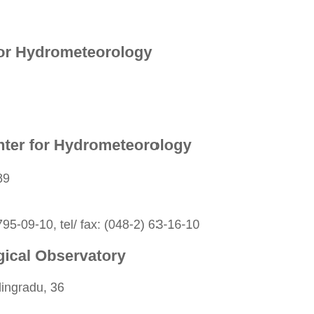or Hydrometeorology
nter for Hydrometeorology
89
795-09-10, tel/ fax: (048-2)  63-16-10
gical Observatory
llingradu, 36